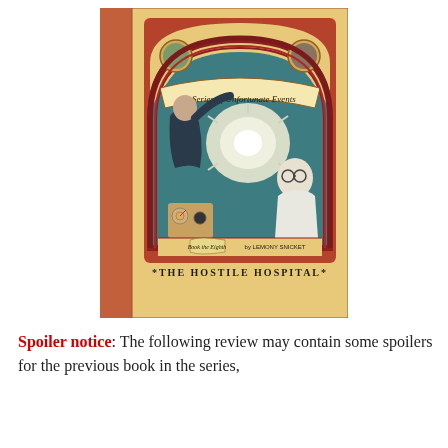[Figure (illustration): Book cover of 'A Series of Unfortunate Events: The Hostile Hospital' by Lemony Snicket. Book the Eighth. The cover shows a teal/dark illustrated scene under an arched ornate frame with a banner reading 'A Series of Unfortunate Events'. Two medallion illustrations appear at top corners. The main illustration shows figures including a person in a surgical mask and a person with glasses, with a large surgical light overhead. The bottom of the cover reads '*THE HOSTILE HOSPITAL*' on a tan/cream background. The spine on the left is an orange-brown color.]
Spoiler notice: The following review may contain some spoilers for the previous book in the series,